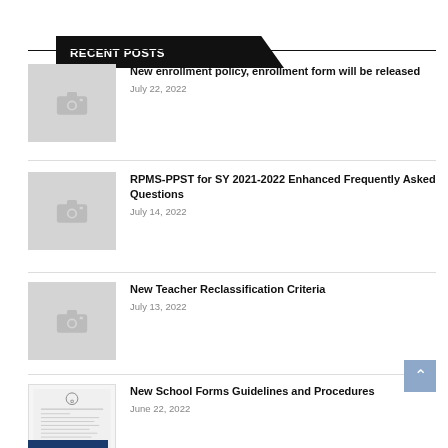RECENT POSTS
New enrollment policy, enrollment form will be released
July 22, 2022
RPMS-PPST for SY 2021-2022 Enhanced Frequently Asked Questions
July 14, 2022
New Teacher Reclassification Criteria
July 13, 2022
New School Forms Guidelines and Procedures
June 22, 2022